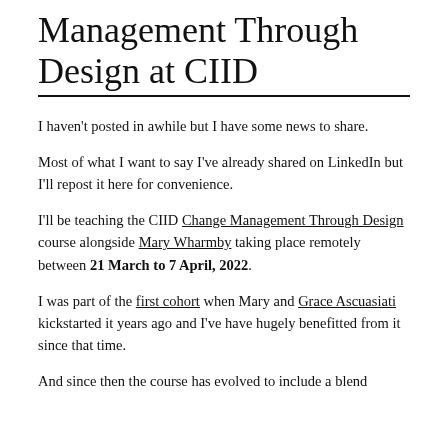Management Through Design at CIID
I haven't posted in awhile but I have some news to share.
Most of what I want to say I've already shared on LinkedIn but I'll repost it here for convenience.
I'll be teaching the CIID Change Management Through Design course alongside Mary Wharmby taking place remotely between 21 March to 7 April, 2022.
I was part of the first cohort when Mary and Grace Ascuasiati kickstarted it years ago and I've have hugely benefitted from it since that time.
And since then the course has evolved to include a blend